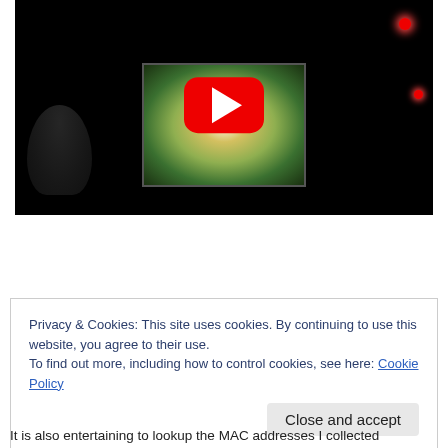[Figure (screenshot): YouTube video thumbnail showing a dark scene with a glowing screen/projection in the center, a silhouette figure on the left, and red dots/lights. A red YouTube play button is overlaid in the center.]
Privacy & Cookies: This site uses cookies. By continuing to use this website, you agree to their use.
To find out more, including how to control cookies, see here: Cookie Policy
Close and accept
It is also entertaining to lookup the MAC addresses I collected